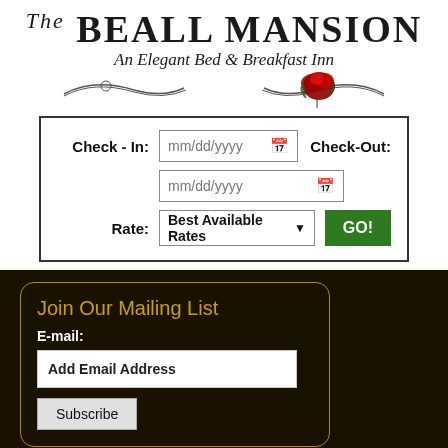[Figure (logo): The Beall Mansion - An Elegant Bed & Breakfast Inn logo with decorative rose and scroll design]
| Check - In: | mm/dd/yyyy | Check-Out: |
|  | mm/dd/yyyy |  |
| Rate: | Best Available Rates | GO! |
Join Our Mailing List
E-mail:
Add Email Address
Subscribe